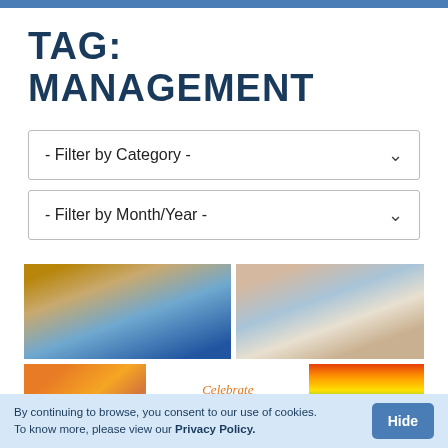TAG: MANAGEMENT
- Filter by Category -
- Filter by Month/Year -
[Figure (photo): Two people showing rainbow flag hand paintings on their skin, wearing jeans]
[Figure (photo): Arms raised at a pride parade with rainbow wristbands]
[Figure (photo): Two people holding hands against rainbow flag background]
[Figure (illustration): Celebrate PRIDE text graphic with rainbow colored letters]
[Figure (photo): Rainbow pride flag close-up]
By continuing to browse, you consent to our use of cookies. To know more, please view our Privacy Policy.